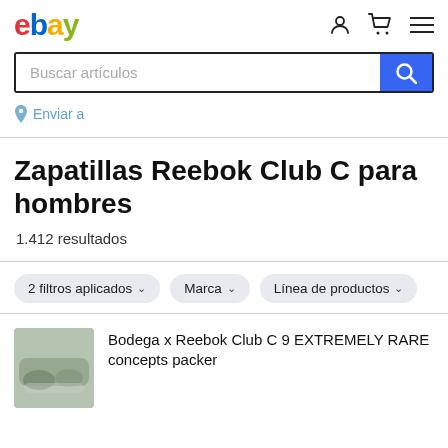[Figure (logo): eBay logo in four colors: red e, blue b, yellow a, green y]
Buscar artículos
Enviar a
Zapatillas Reebok Club C para hombres
1.412 resultados
2 filtros aplicados
Marca
Línea de productos
Bodega x Reebok Club C 9 EXTREMELY RARE concepts packer